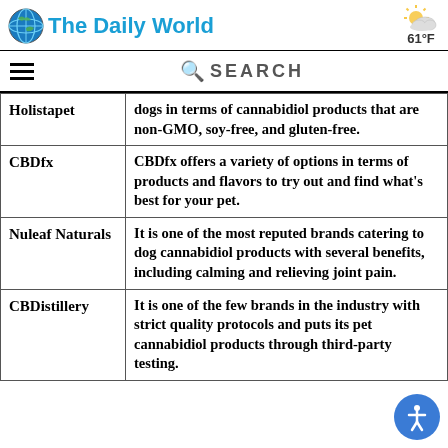The Daily World | 61°F
| Brand | Description |
| --- | --- |
| Holistapet | dogs in terms of cannabidiol products that are non-GMO, soy-free, and gluten-free. |
| CBDfx | CBDfx offers a variety of options in terms of products and flavors to try out and find what's best for your pet. |
| Nuleaf Naturals | It is one of the most reputed brands catering to dog cannabidiol products with several benefits, including calming and relieving joint pain. |
| CBDistillery | It is one of the few brands in the industry with strict quality protocols and puts its pet cannabidiol products through third-party testing. |